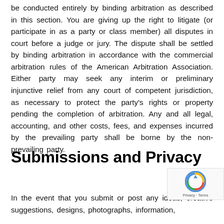be conducted entirely by binding arbitration as described in this section. You are giving up the right to litigate (or participate in as a party or class member) all disputes in court before a judge or jury. The dispute shall be settled by binding arbitration in accordance with the commercial arbitration rules of the American Arbitration Association. Either party may seek any interim or preliminary injunctive relief from any court of competent jurisdiction, as necessary to protect the party's rights or property pending the completion of arbitration. Any and all legal, accounting, and other costs, fees, and expenses incurred by the prevailing party shall be borne by the non-prevailing party.
Submissions and Privacy
In the event that you submit or post any ideas, creative suggestions, designs, photographs, information,